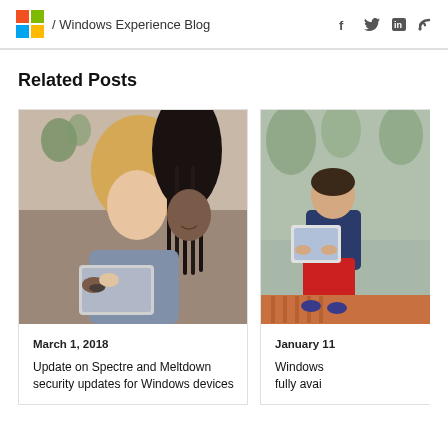/ Windows Experience Blog
Related Posts
[Figure (photo): Two women looking at a device together, one with blonde hair and one with braids, sitting on a couch]
March 1, 2018
Update on Spectre and Meltdown security updates for Windows devices
[Figure (photo): A child sitting on a radiator using a tablet, with plants visible in the background (partially cropped)]
January 11
Windows fully avai